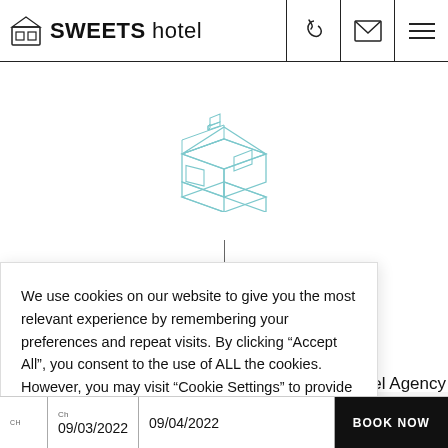SWEETS hotel
[Figure (illustration): Isometric line-art illustration of a bridge tender house / small building in light blue/teal outline style]
We use cookies on our website to give you the most relevant experience by remembering your preferences and repeat visits. By clicking “Accept All”, you consent to the use of ALL the cookies. However, you may visit "Cookie Settings" to provide a controlled consent.
Cookie Settings | Accept All
otel Agency
Ch | 09/03/2022 | 09/04/2022 | BOOK NOW